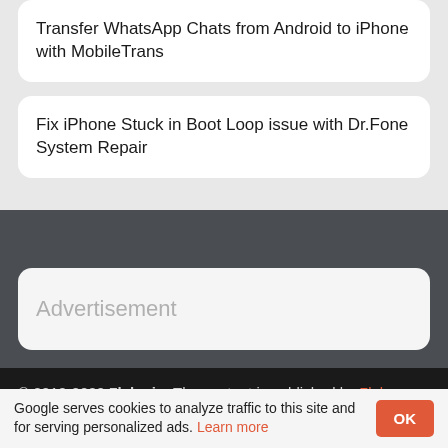Transfer WhatsApp Chats from Android to iPhone with MobileTrans
Fix iPhone Stuck in Boot Loop issue with Dr.Fone System Repair
Advertisement
© 2012-2022 7labs.io. The content is published by 7labs
Google serves cookies to analyze traffic to this site and for serving personalized ads. Learn more